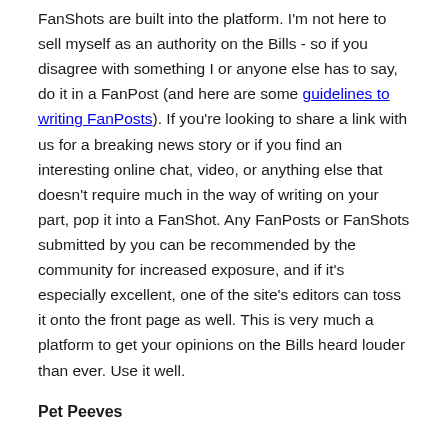FanShots are built into the platform.  I'm not here to sell myself as an authority on the Bills - so if you disagree with something I or anyone else has to say, do it in a FanPost (and here are some guidelines to writing FanPosts).  If you're looking to share a link with us for a breaking news story or if you find an interesting online chat, video, or anything else that doesn't require much in the way of writing on your part, pop it into a FanShot.  Any FanPosts or FanShots submitted by you can be recommended by the community for increased exposure, and if it's especially excellent, one of the site's editors can toss it onto the front page as well.  This is very much a platform to get your opinions on the Bills heard louder than ever.  Use it well.
Pet Peeves